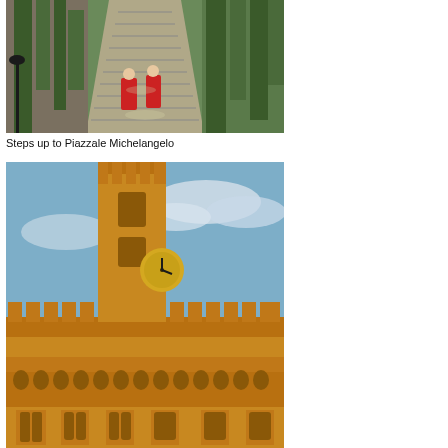[Figure (photo): Two people in red jackets walking up a broad stone stairway path lined with stone walls and large trees, leading up to Piazzale Michelangelo in Florence, Italy.]
Steps up to Piazzale Michelangelo
[Figure (photo): Low-angle view of the Palazzo Vecchio in Florence, Italy, showing the medieval stone fortress with battlements, arched windows, and its tall clock tower under a blue sky with light clouds. The building is illuminated in warm golden-orange light.]